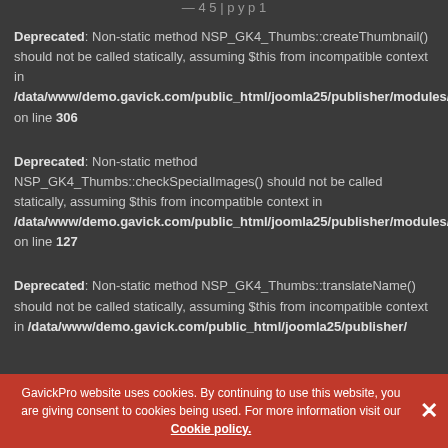Deprecated: Non-static method NSP_GK4_Thumbs::createThumbnail() should not be called statically, assuming $this from incompatible context in /data/www/demo.gavick.com/public_html/joomla25/publisher/modules/mod_news_pro_gk4/tmpl/layout.parts.php on line 306
Deprecated: Non-static method NSP_GK4_Thumbs::checkSpecialImages() should not be called statically, assuming $this from incompatible context in /data/www/demo.gavick.com/public_html/joomla25/publisher/modules/mod_news_pro_gk4/gk_classes/gk.thumbs.php on line 127
Deprecated: Non-static method NSP_GK4_Thumbs::translateName() should not be called statically, assuming $this from incompatible context in /data/www/demo.gavick.com/public_html/joomla25/publisher/
GavickPro website uses cookies. By continuing to use this website, you are giving consent to cookies being used. For more information visit our Cookie policy.